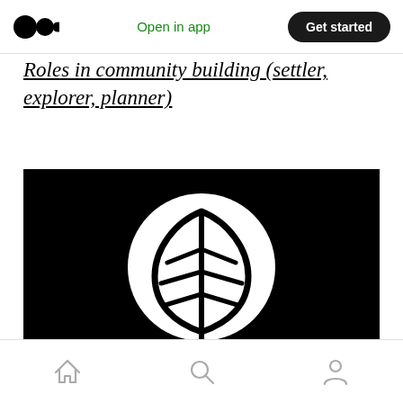Medium logo | Open in app | Get started
Roles in community building (settler, explorer, planner)
[Figure (illustration): Black background with a white circle containing a black leaf icon in the center]
Home | Search | Profile navigation icons